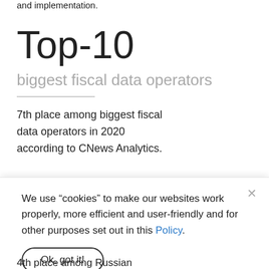and implementation.
Top-10
biggest fiscal data operators
7th place among biggest fiscal data operators in 2020 according to CNews Analytics.
We use “cookies” to make our websites work properly, more efficient and user-friendly and for other purposes set out in this Policy.
Ok, got it!
4th place among Russian